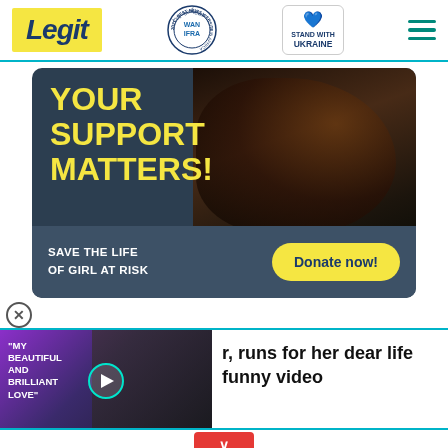Legit | WAN IFRA 2021 Best News Website in Africa | Stand With Ukraine
[Figure (infographic): Donation advertisement banner with dark background showing a girl silhouette, bold yellow text 'YOUR SUPPORT MATTERS!' and a teal/slate bottom panel with text 'SAVE THE LIFE OF GIRL AT RISK' and a yellow 'Donate now!' button.]
[Figure (screenshot): Video thumbnail showing a couple, with overlay text 'MY BEAUTIFUL AND BRILLIANT LOVE' on purple/dark background, with teal-circled play button. Article headline text partially visible: 'r, runs for her dear life funny video']
[Figure (infographic): Bottom advertisement for Walgreens Wellness Products: 'Wellness Products That Work As Hard As You' with Walgreens W logo and blue navigation diamond.]